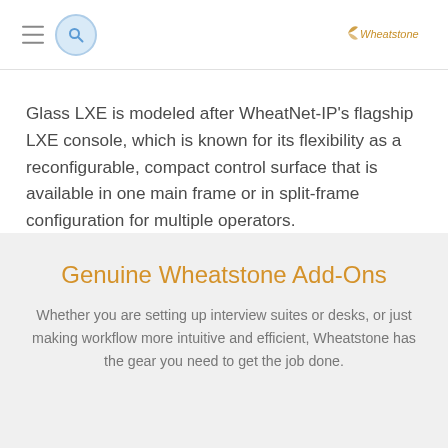[Navigation bar with hamburger menu, search icon, and Wheatstone logo]
Glass LXE is modeled after WheatNet-IP's flagship LXE console, which is known for its flexibility as a reconfigurable, compact control surface that is available in one main frame or in split-frame configuration for multiple operators.
Genuine Wheatstone Add-Ons
Whether you are setting up interview suites or desks, or just making workflow more intuitive and efficient, Wheatstone has the gear you need to get the job done.